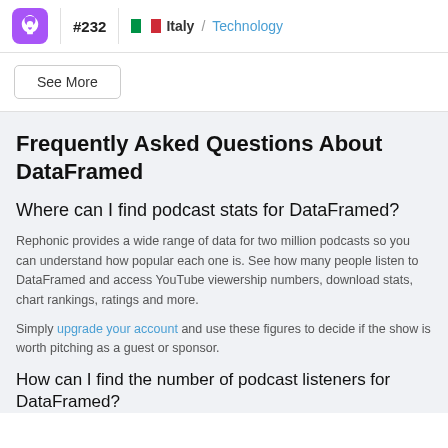#232 Italy / Technology
See More
Frequently Asked Questions About DataFramed
Where can I find podcast stats for DataFramed?
Rephonic provides a wide range of data for two million podcasts so you can understand how popular each one is. See how many people listen to DataFramed and access YouTube viewership numbers, download stats, chart rankings, ratings and more.
Simply upgrade your account and use these figures to decide if the show is worth pitching as a guest or sponsor.
How can I find the number of podcast listeners for DataFramed?